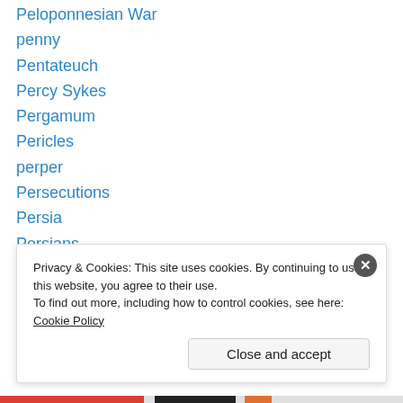Peloponnesian War
penny
Pentateuch
Percy Sykes
Pergamum
Pericles
perper
Persecutions
Persia
Persians
Peter I
Petrograd soviet
pets
Pfalz
Privacy & Cookies: This site uses cookies. By continuing to use this website, you agree to their use.
To find out more, including how to control cookies, see here: Cookie Policy
Close and accept